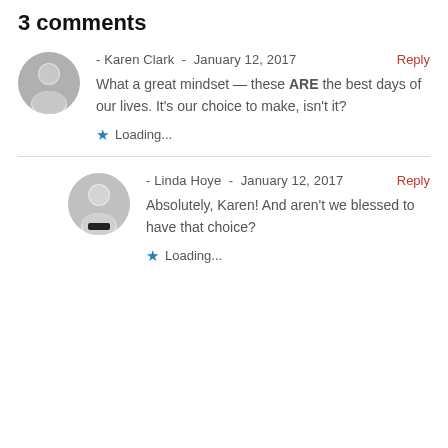3 comments
- Karen Clark - January 12, 2017
What a great mindset — these ARE the best days of our lives. It's our choice to make, isn't it?
Loading...
- Linda Hoye - January 12, 2017
Absolutely, Karen! And aren't we blessed to have that choice?
Loading...